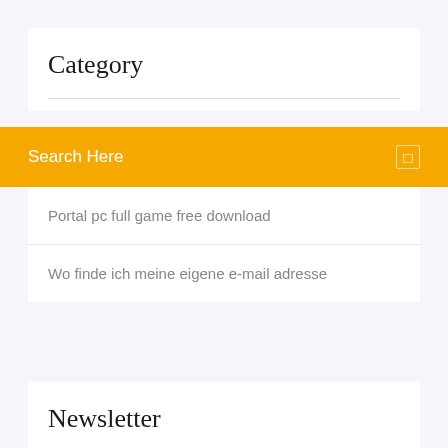Category
Search Here
Portal pc full game free download
Wo finde ich meine eigene e-mail adresse
Newsletter